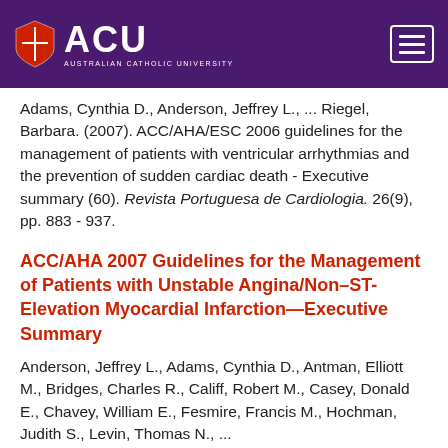[Figure (logo): Australian Catholic University (ACU) logo with shield and text on purple header background]
Adams, Cynthia D., Anderson, Jeffrey L., ... Riegel, Barbara. (2007). ACC/AHA/ESC 2006 guidelines for the management of patients with ventricular arrhythmias and the prevention of sudden cardiac death - Executive summary (60). Revista Portuguesa de Cardiologia. 26(9), pp. 883 - 937.
ACC/AHA 2007 Guidelines for the Management of Patients with Unstable Angina/Non–ST-Elevation Myocardial Infarction—Executive Summary
Anderson, Jeffrey L., Adams, Cynthia D., Antman, Elliott M., Bridges, Charles R., Califf, Robert M., Casey, Donald E., Chavey, William E., Fesmire, Francis M., Hochman, Judith S., Levin, Thomas N., ...